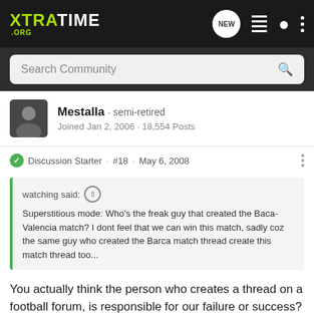XTRATIME .ORG
Search Community
Mestalla · semi-retired
Joined Jan 2, 2006 · 18,554 Posts
Discussion Starter · #18 · May 6, 2008
watching said: ↑
Superstitious mode: Who's the freak guy that created the Baca-Valencia match? I dont feel that we can win this match, sadly coz the same guy who created the Barca match thread create this match thread too...
You actually think the person who creates a thread on a football forum, is responsible for our failure or success?
I wonder why we fired Koeman when we were clearly at fault all